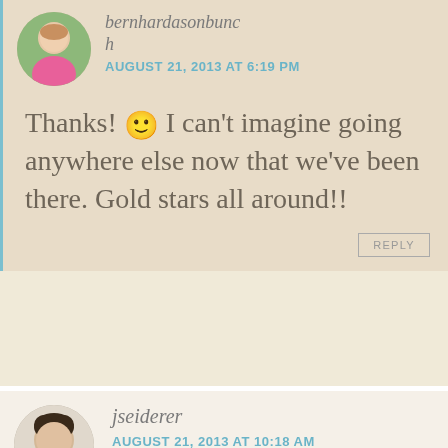bernhardsonbunch
AUGUST 21, 2013 AT 6:19 PM
Thanks! 🙂 I can't imagine going anywhere else now that we've been there. Gold stars all around!!
REPLY
[Figure (photo): Round avatar photo of a woman in a pink shirt]
jseiderer
AUGUST 21, 2013 AT 10:18 AM
[Figure (photo): Round avatar photo of a woman with dark curly hair]